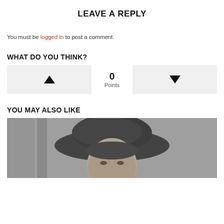LEAVE A REPLY
You must be logged in to post a comment.
WHAT DO YOU THINK?
[Figure (infographic): Vote widget with upvote button (triangle up), 0 Points in center, and downvote button (triangle down)]
YOU MAY ALSO LIKE
[Figure (photo): Black and white photo of a woman wearing a large dark hat]